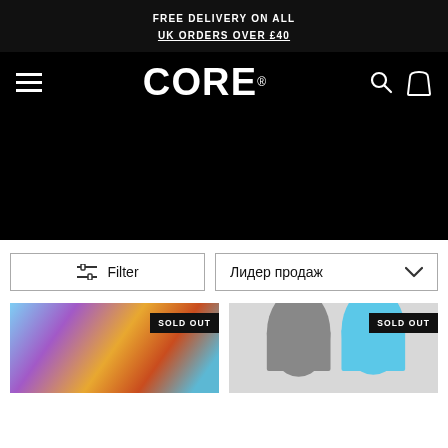FREE DELIVERY ON ALL
UK ORDERS OVER £40
[Figure (logo): CORE brand logo in white on black background with hamburger menu, search and bag icons]
[Figure (photo): Black hero banner area]
Filter
Лидер продаж
[Figure (photo): Product card left: colorful holographic skateboard graphic, SOLD OUT badge]
[Figure (photo): Product card right: grey and blue skateboard decks, SOLD OUT badge]